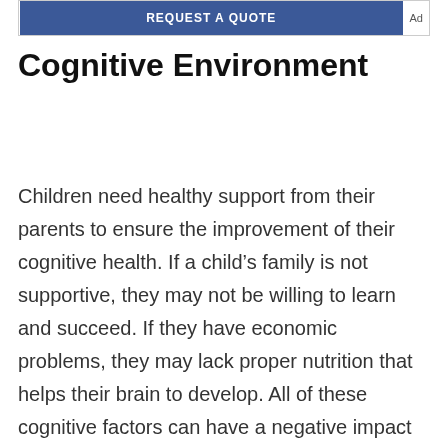[Figure (other): Blue advertisement banner with text REQUEST A QUOTE and Ad label]
Cognitive Environment
Children need healthy support from their parents to ensure the improvement of their cognitive health. If a child’s family is not supportive, they may not be willing to learn and succeed. If they have economic problems, they may lack proper nutrition that helps their brain to develop. All of these cognitive factors can have a negative impact